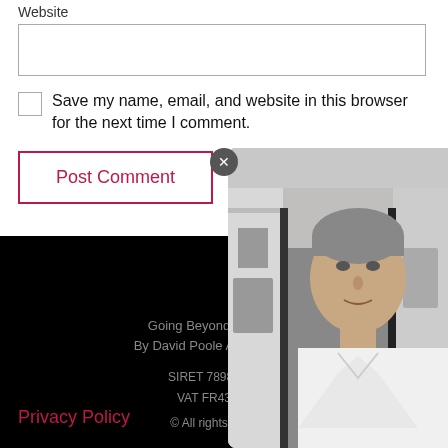Website
Save my name, email, and website in this browser for the next time I comment.
Post Comment
[Figure (photo): Photo of a middle-aged man with grey hair wearing a white polo shirt, overlaid on a street scene in a French town. An X close button is visible in the upper left of the overlay.]
Going Beyond The Illusion
By David Poole And Associates
SIRET 78989173600
VAT FR43789891
© All rights reserved
Privacy Policy